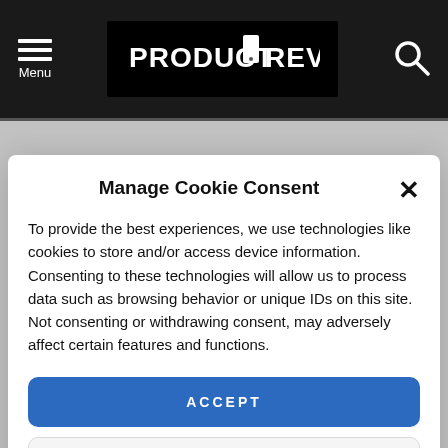PRODUCT REVIEWS
Manage Cookie Consent
To provide the best experiences, we use technologies like cookies to store and/or access device information. Consenting to these technologies will allow us to process data such as browsing behavior or unique IDs on this site. Not consenting or withdrawing consent, may adversely affect certain features and functions.
ACCEPT
VIEW PREFERENCES
Cookie Policy  Privacy Policy
monetise are marked with an '*' symbol.